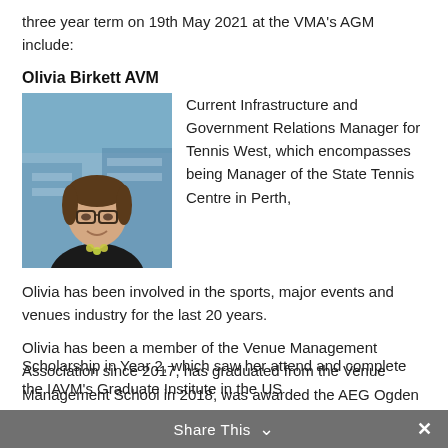three year term on 19th May 2021 at the VMA's AGM include:
Olivia Birkett AVM
[Figure (photo): Portrait photo of Olivia Birkett, a woman with glasses and dark hair pulled back, wearing a dark blazer and a light top with a necklace, smiling, outdoors with a blue building in the background.]
Current Infrastructure and Government Relations Manager for Tennis West, which encompasses being Manager of the State Tennis Centre in Perth,
Olivia has been involved in the sports, major events and venues industry for the last 20 years.
Olivia has been a member of the Venue Management Association since 2017, has graduated from the Venue Management School in 2018, was awarded the AEG Ogden Scholarship in Year 2, which saw her attend and complete the IAVM's Graduate Institute in the US